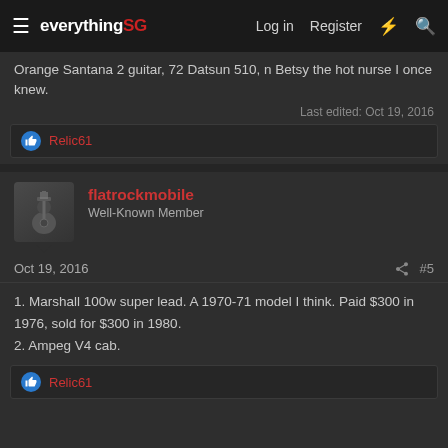everythingSG | Log in | Register
Orange Santana 2 guitar, 72 Datsun 510, n Betsy the hot nurse I once knew.
Last edited: Oct 19, 2016
Relic61
flatrockmobile
Well-Known Member
Oct 19, 2016
#5
1. Marshall 100w super lead. A 1970-71 model I think. Paid $300 in 1976, sold for $300 in 1980.
2. Ampeg V4 cab.
Relic61